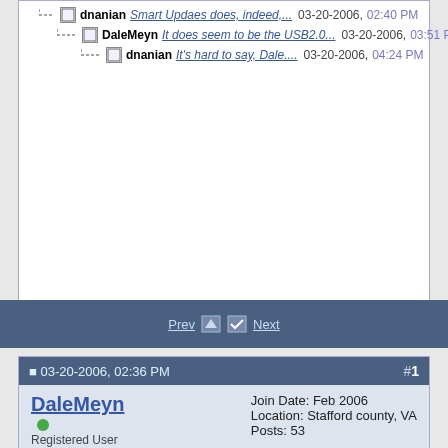dnanian Smart Updaes does, indeed,... 03-20-2006, 02:40 PM
DaleMeyn It does seem to be the USB2.0... 03-20-2006, 03:51 PM
dnanian It's hard to say, Dale.... 03-20-2006, 04:24 PM
Prev | Next
03-20-2006, 02:36 PM  #1
DaleMeyn
Registered User
Join Date: Feb 2006
Location: Stafford county, VA
Posts: 53
SD! & HDD copy speed fun
This is a bit of curioso concerning SD! cloning/updating speeds and HDD data transfer speeds. One would expect that HDD copy speed would strongly influence All Files copying using Erase then Copy, and that conversely, it would have little influence when using Smart Update on an established clone (because nearly all the time is spent evaluating files rather than copying). The data, however, show both are nearly equally influenced by the HDD copy speed.
I have an iMac G5 iSight, OS 10.4.5, with 2 external HDDs. One is a Micronet Fantom 250GB FireWire400 HDD, the other is a Micronet 250GB FireWire400/USB2.0 HDD. Both